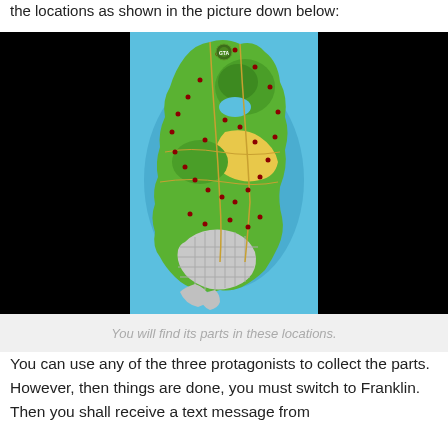the locations as shown in the picture down below:
[Figure (map): GTA V map showing locations of vehicle parts scattered across the game world. The map shows a large island with green terrain, yellow desert areas, blue water, and a city grid in the lower portion. Small red markers indicate part locations.]
You will find its parts in these locations.
You can use any of the three protagonists to collect the parts. However, then things are done, you must switch to Franklin. Then you shall receive a text message from